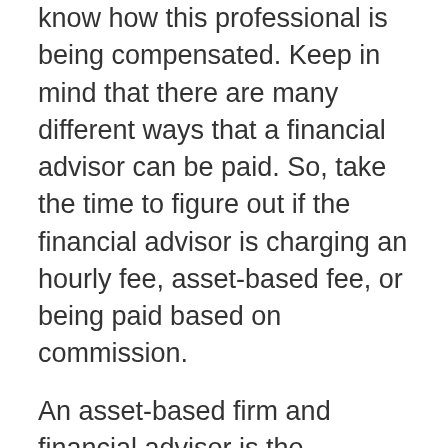know how this professional is being compensated. Keep in mind that there are many different ways that a financial advisor can be paid. So, take the time to figure out if the financial advisor is charging an hourly fee, asset-based fee, or being paid based on commission.
An asset-based firm and financial advisor is the recommended and safest way to go. When a Houston financial advisor is paid based on commission, they may not always have the client's best interest at heart. They are salespeople first and foremost, selling you services that you may or may not need. Having the wrong financial products and services can both